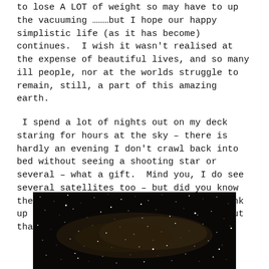to lose A LOT of weight so may have to up the vacuuming ………but I hope our happy simplistic life (as it has become) continues.  I wish it wasn't realised at the expense of beautiful lives, and so many ill people, nor at the worlds struggle to remain, still, a part of this amazing earth.
I spend a lot of nights out on my deck staring for hours at the sky – there is hardly an evening I don't crawl back into bed without seeing a shooting star or several – what a gift.  Mind you, I do see several satellites too – but did you know there are 23000 known pieces of space junk up there, and around 2000 satellites!  But that's another story perhaps?
[Figure (photo): Night sky photograph showing a dark sky filled with numerous stars and the Milky Way, dark background with scattered white star points visible.]